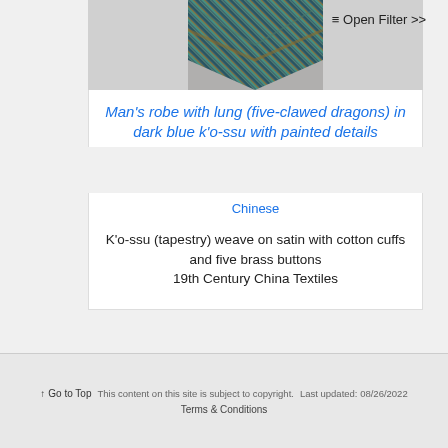[Figure (photo): Partial view of a textile/robe with striped and chevron pattern in dark blue, teal, green, and brown tones]
Man's robe with lung (five-clawed dragons) in dark blue k'o-ssu with painted details
Chinese
K'o-ssu (tapestry) weave on satin with cotton cuffs and five brass buttons
19th Century China Textiles
↑ Go to Top   This content on this site is subject to copyright.   Last updated: 08/26/2022
Terms & Conditions